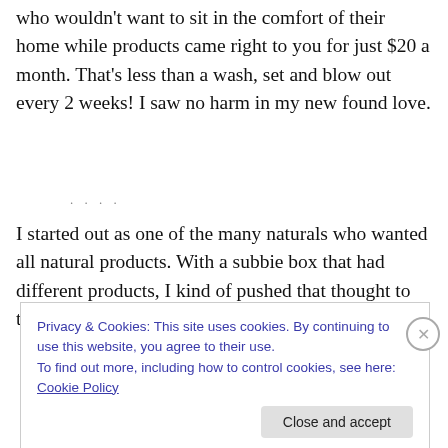who wouldn't want to sit in the comfort of their home while products came right to you for just $20 a month. That's less than a wash, set and blow out every 2 weeks! I saw no harm in my new found love.
I started out as one of the many naturals who wanted all natural products. With a subbie box that had different products, I kind of pushed that thought to the side. Then
Privacy & Cookies: This site uses cookies. By continuing to use this website, you agree to their use.
To find out more, including how to control cookies, see here: Cookie Policy